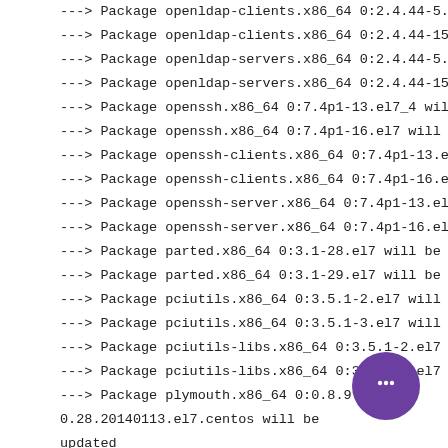---> Package openldap-clients.x86_64 0:2.4.44-5.v7 will be updated
---> Package openldap-clients.x86_64 0:2.4.44-15.v7 will be an update
---> Package openldap-servers.x86_64 0:2.4.44-5.v7 will be updated
---> Package openldap-servers.x86_64 0:2.4.44-15.v7 will be an update
---> Package openssh.x86_64 0:7.4p1-13.el7_4 will be updated
---> Package openssh.x86_64 0:7.4p1-16.el7 will be an update
---> Package openssh-clients.x86_64 0:7.4p1-13.el7_4 will be updated
---> Package openssh-clients.x86_64 0:7.4p1-16.el7 will be an update
---> Package openssh-server.x86_64 0:7.4p1-13.el7_4 will be updated
---> Package openssh-server.x86_64 0:7.4p1-16.el7 will be an update
---> Package parted.x86_64 0:3.1-28.el7 will be updated
---> Package parted.x86_64 0:3.1-29.el7 will be an update
---> Package pciutils.x86_64 0:3.5.1-2.el7 will be updated
---> Package pciutils.x86_64 0:3.5.1-3.el7 will be an update
---> Package pciutils-libs.x86_64 0:3.5.1-2.el7 will be updated
---> Package pciutils-libs.x86_64 0:3.5.1-3.el7 will be an update
---> Package plymouth.x86_64 0:0.8.9-0.28.20140113.el7.centos will be updated